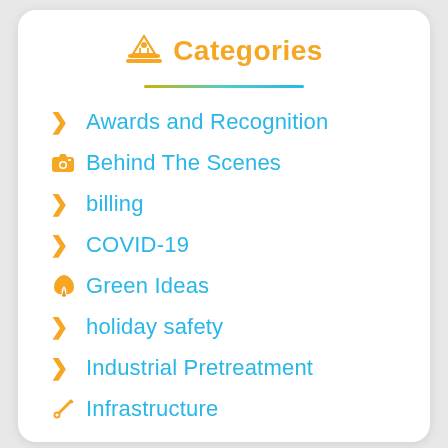Categories
Awards and Recognition
Behind The Scenes
billing
COVID-19
Green Ideas
holiday safety
Industrial Pretreatment
Infrastructure